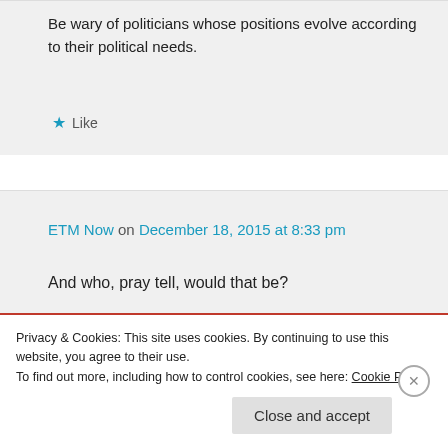Be wary of politicians whose positions evolve according to their political needs.
★ Like
ETM Now on December 18, 2015 at 8:33 pm
And who, pray tell, would that be?
★ Like
Privacy & Cookies: This site uses cookies. By continuing to use this website, you agree to their use.
To find out more, including how to control cookies, see here: Cookie Policy
Close and accept